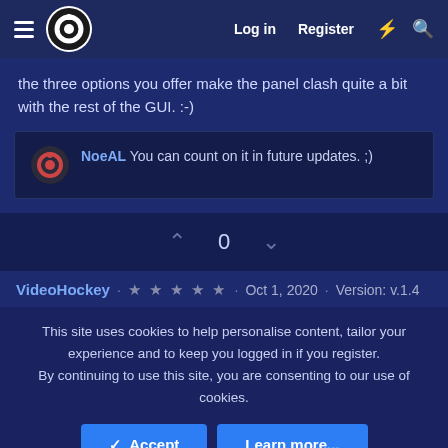Log in  Register
the three options you offer make the panel clash quite a bit with the rest of the GUI. :-)
NoeAL You can count on it in future updates. ;)
0
VideoHockey · ★★★★★ · Oct 1, 2020 · Version: v.1.4
This site uses cookies to help personalise content, tailor your experience and to keep you logged in if you register.
By continuing to use this site, you are consenting to our use of cookies.